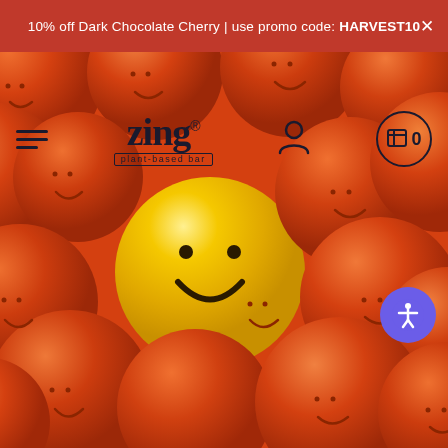10% off Dark Chocolate Cherry | use promo code: HARVEST10 ×
[Figure (screenshot): Zing plant-based bar website screenshot showing navigation bar with hamburger menu, Zing logo, user icon, and cart icon (0 items) over a hero image of colorful orange smiley face balls with one yellow smiley ball in the center. Accessibility icon visible on the right side.]